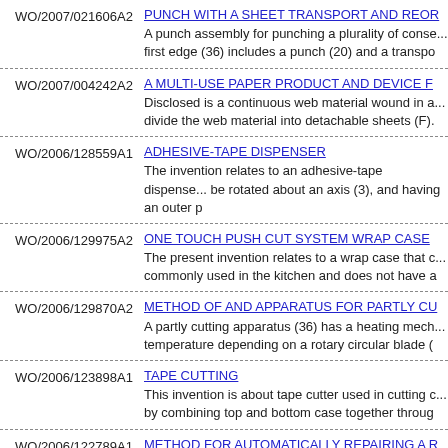WO/2007/021606A2 | PUNCH WITH A SHEET TRANSPORT AND REOR... | A punch assembly for punching a plurality of conse... first edge (36) includes a punch (20) and a transpo...
WO/2007/004242A2 | A MULTI-USE PAPER PRODUCT AND DEVICE F... | Disclosed is a continuous web material wound in a... divide the web material into detachable sheets (F).
WO/2006/128559A1 | ADHESIVE-TAPE DISPENSER | The invention relates to an adhesive-tape dispense... be rotated about an axis (3), and having an outer p...
WO/2006/129975A2 | ONE TOUCH PUSH CUT SYSTEM WRAP CASE | The present invention relates to a wrap case that c... commonly used in the kitchen and does not have a...
WO/2006/129870A2 | METHOD OF AND APPARATUS FOR PARTLY CU... | A partly cutting apparatus (36) has a heating mech... temperature depending on a rotary circular blade (...
WO/2006/123898A1 | TAPE CUTTING | This invention is about tape cutter used in cutting c... by combining top and bottom case together throug...
WO/2006/122789A1 | METHOD FOR AUTOMATICALLY REPAIRING A R... | The invention relates to a device for automatically r... press, in which a detector device (24) and a repairi...
WO/2006/124459A2 | METHOD AND APPARATUS FOR SEPARATING A... | A pane (24) is separated from a moving ribbon (20... the pane The ribbon is restrained by selectively co...